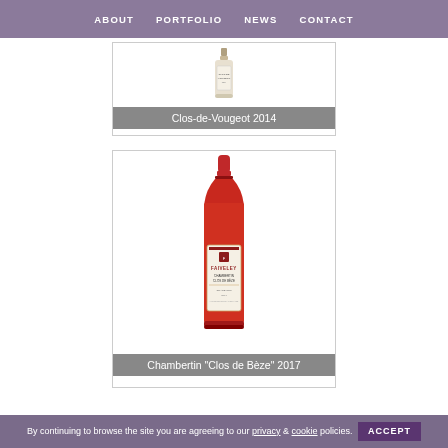ABOUT  PORTFOLIO  NEWS  CONTACT
[Figure (photo): Wine bottle for Clos-de-Vougeot 2014 with white label]
Clos-de-Vougeot 2014
[Figure (photo): Wine bottle for Chambertin Clos de Beze 2017 by Faiveley with red cap and decorative label]
Chambertin "Clos de Bèze" 2017
By continuing to browse the site you are agreeing to our privacy & cookie policies. ACCEPT